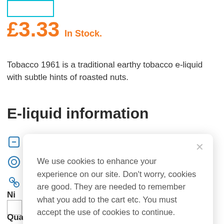[Figure (other): Product image box with teal/cyan border partially visible at top]
£3.33  In Stock.
Tobacco 1961 is a traditional earthy tobacco e-liquid with subtle hints of roasted nuts.
E-liquid information
Ni
Quantity
We use cookies to enhance your experience on our site. Don't worry, cookies are good. They are needed to remember what you add to the cart etc. You must accept the use of cookies to continue.
Allow cookies